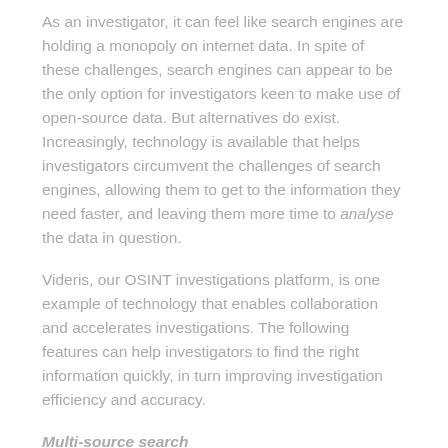As an investigator, it can feel like search engines are holding a monopoly on internet data. In spite of these challenges, search engines can appear to be the only option for investigators keen to make use of open-source data. But alternatives do exist. Increasingly, technology is available that helps investigators circumvent the challenges of search engines, allowing them to get to the information they need faster, and leaving them more time to analyse the data in question.
Videris, our OSINT investigations platform, is one example of technology that enables collaboration and accelerates investigations. The following features can help investigators to find the right information quickly, in turn improving investigation efficiency and accuracy.
Multi-source search
Although search engines bring back very large numbers of results, they are, counterintuitively, walled gardens of data because they only index a subset of what's available on the internet. To be absolutely certain that they are reviewing all relevant data, investigators need to collect from the widest